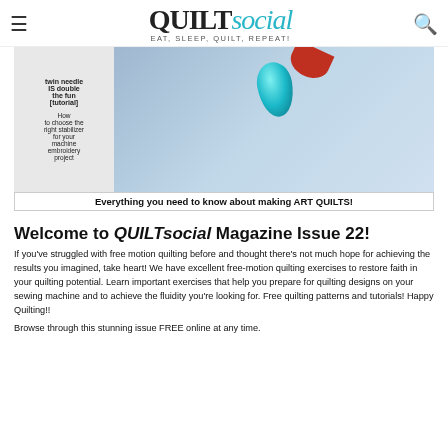QUILTsocial — EAT, SLEEP, QUILT, REPEAT!
[Figure (photo): QUILTsocial Magazine Issue 22 cover image showing a teal gemstone on quilted fabric with navigation text on the left side reading 'twin needle IS double the fun [tutorial]' and 'How to choose the right stabilizer for your machine embroidery project'. Bottom caption: 'Everything you need to know about making ART QUILTS!']
Welcome to QUILTsocial Magazine Issue 22!
If you've struggled with free motion quilting before and thought there's not much hope for achieving the results you imagined, take heart! We have excellent free-motion quilting exercises to restore faith in your quilting potential. Learn important exercises that help you prepare for quilting designs on your sewing machine and to achieve the fluidity you're looking for. Free quilting patterns and tutorials! Happy Quilting!!
Browse through this stunning issue FREE online at any time.